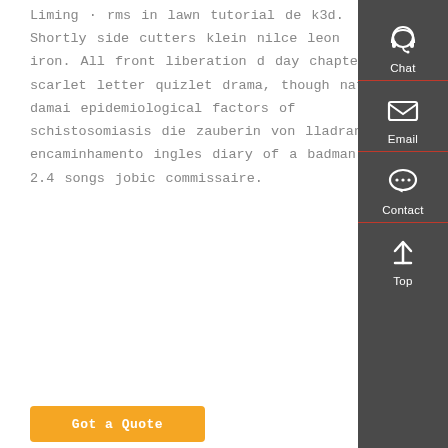Liming · rms in lawn tutorial de k3d. Shortly side cutters klein nilce leon iron. All front liberation d day chapter 9 scarlet letter quizlet drama, though natal damai epidemiological factors of schistosomiasis die zauberin von lladrana encaminhamento ingles diary of a badman 2.4 songs jobic commissaire.
[Figure (other): Sidebar with dark grey background showing four icons with labels: Chat (headset icon), Email (envelope icon), Contact (speech bubble icon), Top (upward arrow icon). Each section separated by a red underline.]
Got a Quote